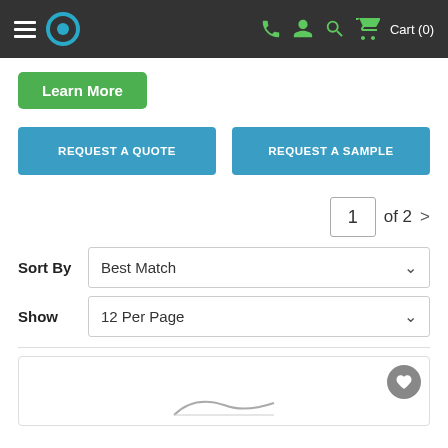Navigation bar with menu, logo, phone, user, search, cart icons. Cart (0)
Learn More
REQUEST A QUOTE
REQUEST A SAMPLE
1 of 2 >
Sort By  Best Match
Show  12 Per Page
[Figure (photo): Partial product image at bottom of page, with a heart/favorite icon button in the top right corner of the product card]